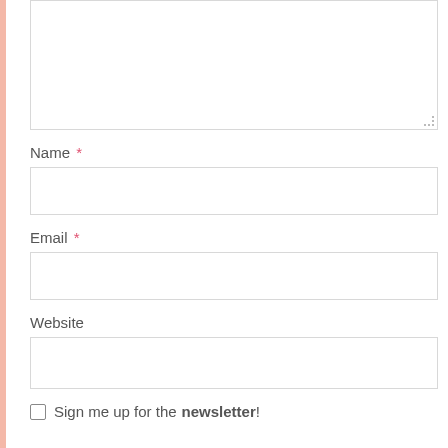[Figure (screenshot): A web form partial view showing a comment textarea (partially visible at top), followed by labeled input fields for Name (required), Email (required), and Website, plus a newsletter signup checkbox.]
Name *
Email *
Website
Sign me up for the newsletter!